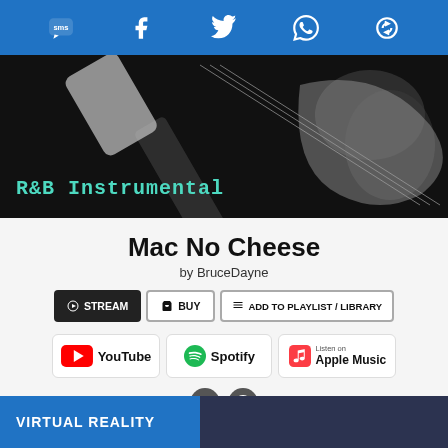SMS | Facebook | Twitter | WhatsApp | Share
[Figure (photo): Hero banner image showing guitar/musical instruments in black and white with teal text 'R&B Instrumental' overlaid on a dark background]
Mac No Cheese
by BruceDayne
STREAM | BUY | ADD TO PLAYLIST / LIBRARY
[Figure (logo): YouTube logo badge]
[Figure (logo): Spotify logo badge]
[Figure (logo): Apple Music logo badge]
VIRTUAL REALITY